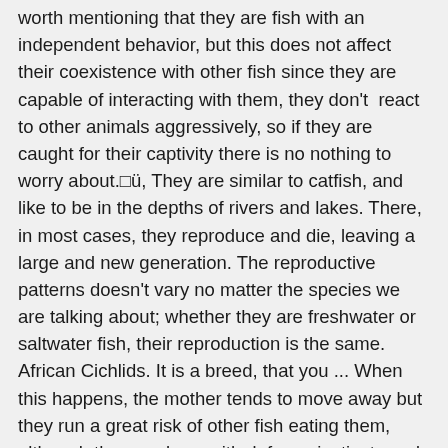worth mentioning that they are fish with an independent behavior, but this does not affect their coexistence with other fish since they are capable of interacting with them, they don't react to other animals aggressively, so if they are caught for their captivity there is no nothing to worry about.□ü, They are similar to catfish, and like to be in the depths of rivers and lakes. There, in most cases, they reproduce and die, leaving a large and new generation. The reproductive patterns doesn't vary no matter the species we are talking about; whether they are freshwater or saltwater fish, their reproduction is the same. African Cichlids. It is a breed, that you ... When this happens, the mother tends to move away but they run a great risk of other fish eating them, although they are born with defense instincts and are cape and can perceive the danger that manifests itself around them. The only way that has been found and thanks to different studies is that males and females They can be differentiated by the coloration of their skin or by the anatomy of the species as the case may be. They are fish capable of living together with other fish and